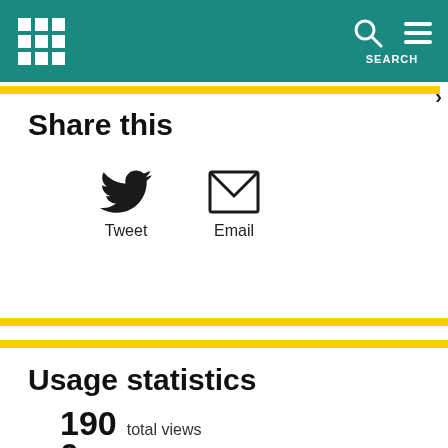Share this
[Figure (other): Twitter bird icon with label Tweet and email envelope icon with label Email]
Usage statistics
190 total views
0 total downloads